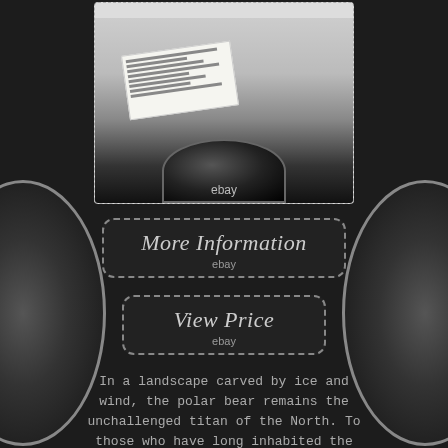[Figure (photo): Product photo showing a wine bottle or dark container viewed from above, with a certificate/label document visible, displayed with an eBay watermark]
ebay
More Information
ebay
View Price
ebay
In a landscape carved by ice and wind, the polar bear remains the unchallenged titan of the North. To those who have long inhabited the region. It is a powerful cultural figure steeped in tradition. Legends and art speak of the polar bear's might and wisdom as a link